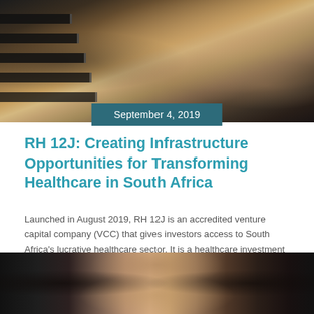[Figure (photo): Overhead view of an audience seated in a lecture hall or conference room, with wooden flooring and staircase steps visible on the left.]
September 4, 2019
RH 12J: Creating Infrastructure Opportunities for Transforming Healthcare in South Africa
Launched in August 2019, RH 12J is an accredited venture capital company (VCC) that gives investors access to South Africa's lucrative healthcare sector. It is a healthcare investment vehicle that invests in private hospitals across Sout...
Read more ▶
[Figure (photo): A smiling man in glasses seated in front of dark bookshelves, appearing to be in an office setting.]